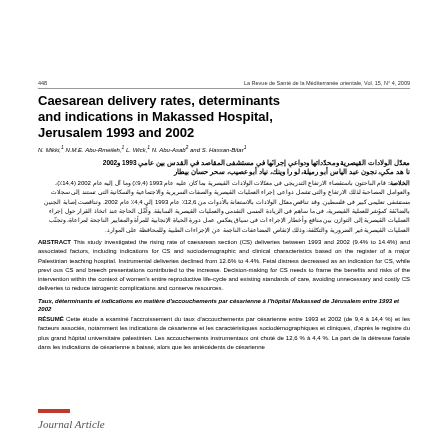448   La Revue de Santé de la Méditerranée orientale, Vol. 15, N° 4, 2009
Caesarean delivery rates, determinants and indications in Makassed Hospital, Jerusalem 1993 and 2002
N. Mikki,¹ N.M.E. Abu-Rmeileh,¹ L. Wick,¹ N. Abu-Asab² and S. Hassan-Bitar¹
Arabic title: معدّل الولادات القيصرية ومحدّداتها ودواعي إجرائها في مستشفى المقاصد في القدس بين عامي 1993 و2002 نا هد مكي، نجون عبد الباس أبو رميلة، لو را وينك، نياد أبو عصيب، سحر حسان بيطار
Arabic abstract text
ABSTRACT This study investigated the rising rate of caesarean section (CS) deliveries between 1993 and 2002 (9.4% to 14.4%) and associated factors, including indications for CS and sociodemographic and clinical characteristics based on the register of a major Palestinian teaching hospital. Instrumental deliveries declined from 12.6% to 4.4%. Fetal distress decreased as an indication for CS, while previous CS and breech presentations contributed to the increase. Decision-making for CS needs to frame the benefits and risks of the intervention within the context of women's entire reproductive life-cycle and existing standards of care, avoiding unnecessary and costly CS deliveries to reduce iatrogenic complications and conserve resources.
Taux, déterminants et indications en matière d'accouchements par césarienne à l'hôpital Makassed de Jérusalem entre 1993 et 2002
RÉSUMÉ Cette étude a examiné l'accroissement du taux d'accouchements par césarienne entre 1993 et 2002 (de 9,4 à 14,4 %) et les facteurs associés, notamment les indications de césarienne et les caractéristiques sociodémographiques et cliniques, d'après le registre du plus grand hôpital universitaire palestinien. Les accouchements instrumentaux ont chuté de 12,6 % à 4,4 %. La part de la détresse fœtale dans les indications de césarienne a baissé, alors que les antécédents de césarienne
Journal Article